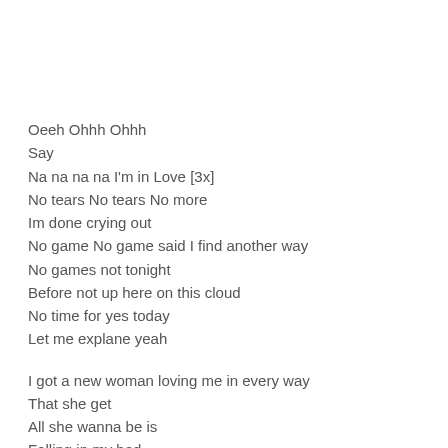Oeeh Ohhh Ohhh
Say
Na na na na I'm in Love [3x]
No tears No tears No more
Im done crying out
No game No game said I find another way
No games not tonight
Before not up here on this cloud
No time for yes today
Let me explane yeah
I got a new woman loving me in every way
That she get
All she wanna be is
Falling in my bed
Safe to safe it out